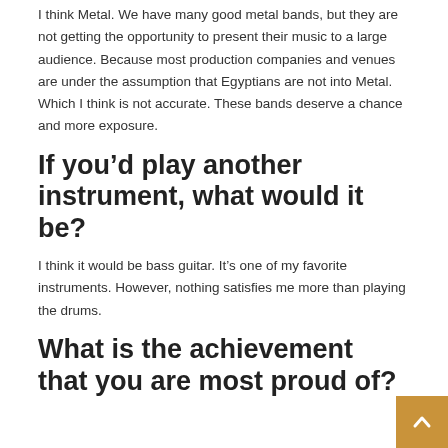I think Metal. We have many good metal bands, but they are not getting the opportunity to present their music to a large audience. Because most production companies and venues are under the assumption that Egyptians are not into Metal. Which I think is not accurate. These bands deserve a chance and more exposure.
If you’d play another instrument, what would it be?
I think it would be bass guitar. It’s one of my favorite instruments. However, nothing satisfies me more than playing the drums.
What is the achievement that you are most proud of?